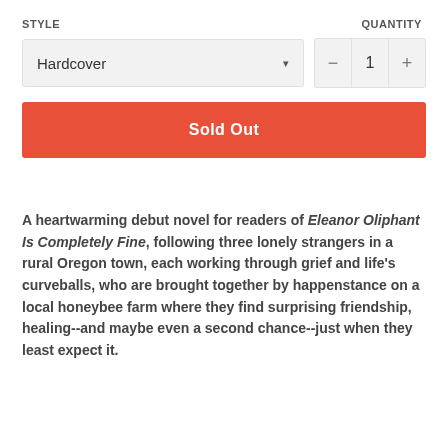STYLE
QUANTITY
[Figure (screenshot): Dropdown selector showing 'Hardcover' with down arrow, and a quantity selector showing minus button, 1, plus button]
[Figure (screenshot): Red 'Sold Out' button]
A heartwarming debut novel for readers of Eleanor Oliphant Is Completely Fine, following three lonely strangers in a rural Oregon town, each working through grief and life's curveballs, who are brought together by happenstance on a local honeybee farm where they find surprising friendship, healing--and maybe even a second chance--just when they least expect it.